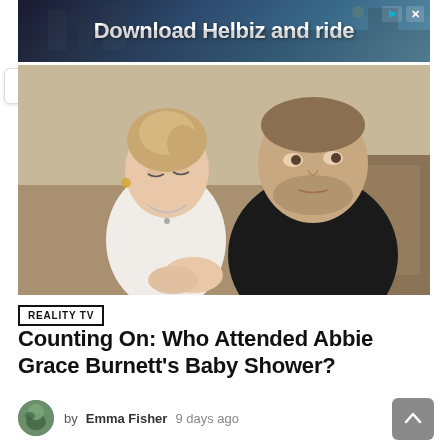[Figure (photo): Advertisement banner with dark blue gradient background and white bold text reading 'Download Helbiz and ride' with a play icon and close button in the top right corner, with a city street scene visible faintly in the background]
[Figure (photo): A man in a black long-sleeve shirt and a woman in a white top with their hands folded, standing together in an indoor setting, both looking downward or to the side]
REALITY TV
Counting On: Who Attended Abbie Grace Burnett's Baby Shower?
by Emma Fisher  9 days ago